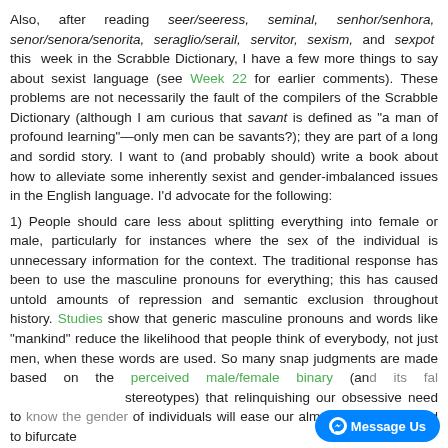Also, after reading seer/seeress, seminal, senhor/senhora, senor/senora/senorita, seraglio/serail, servitor, sexism, and sexpot this week in the Scrabble Dictionary, I have a few more things to say about sexist language (see Week 22 for earlier comments). These problems are not necessarily the fault of the compilers of the Scrabble Dictionary (although I am curious that savant is defined as "a man of profound learning"—only men can be savants?); they are part of a long and sordid story. I want to (and probably should) write a book about how to alleviate some inherently sexist and gender-imbalanced issues in the English language. I'd advocate for the following:
1) People should care less about splitting everything into female or male, particularly for instances where the sex of the individual is unnecessary information for the context. The traditional response has been to use the masculine pronouns for everything; this has caused untold amounts of repression and semantic exclusion throughout history. Studies show that generic masculine pronouns and words like "mankind" reduce the likelihood that people think of everybody, not just men, when these words are used. So many snap judgments are made based on the perceived male/female binary (and its false stereotypes) that relinquishing our obsessive need to know the gender of individuals will ease our almost obsessive need to bifurcate